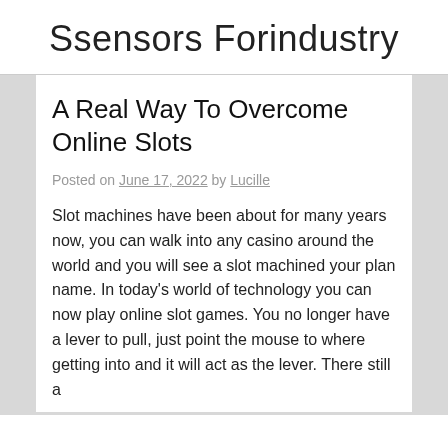Ssensors Forindustry
A Real Way To Overcome Online Slots
Posted on June 17, 2022 by Lucille
Slot machines have been about for many years now, you can walk into any casino around the world and you will see a slot machined your plan name. In today's world of technology you can now play online slot games. You no longer have a lever to pull, just point the mouse to where getting into and it will act as the lever. There still a